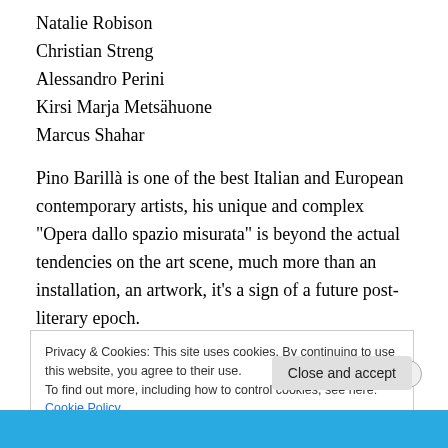Natalie Robison
Christian Streng
Alessandro Perini
Kirsi Marja Metsähuone
Marcus Shahar
Pino Barillà is one of the best Italian and European contemporary artists, his unique and complex "Opera dallo spazio misurata" is beyond the actual tendencies on the art scene, much more than an installation, an artwork, it's a sign of a future post-literary epoch.
Privacy & Cookies: This site uses cookies. By continuing to use this website, you agree to their use.
To find out more, including how to control cookies, see here: Cookie Policy